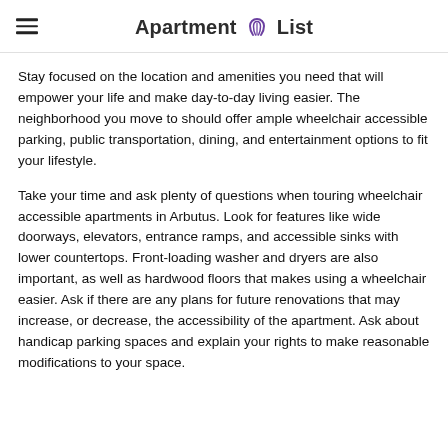Apartment List
Stay focused on the location and amenities you need that will empower your life and make day-to-day living easier. The neighborhood you move to should offer ample wheelchair accessible parking, public transportation, dining, and entertainment options to fit your lifestyle.
Take your time and ask plenty of questions when touring wheelchair accessible apartments in Arbutus. Look for features like wide doorways, elevators, entrance ramps, and accessible sinks with lower countertops. Front-loading washer and dryers are also important, as well as hardwood floors that makes using a wheelchair easier. Ask if there are any plans for future renovations that may increase, or decrease, the accessibility of the apartment. Ask about handicap parking spaces and explain your rights to make reasonable modifications to your space.